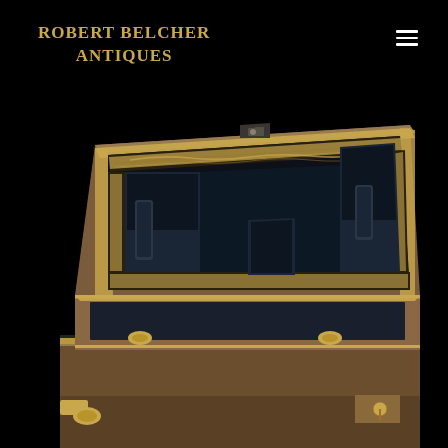ROBERT BELCHER ANTIQUES
[Figure (photo): An antique wooden writing box or lap desk, open to reveal a dark leather-lined interior with decorative gold tooled border. The box is mahogany with brass fittings and corner pieces. The lid is propped open showing the interior writing surface and document pockets. The base/exterior of the box is also visible showing brass hardware and a keyhole. Black background.]